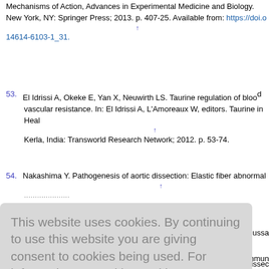Mechanisms of Action, Advances in Experimental Medicine and Biology. New York, NY: Springer Press; 2013. p. 407-25. Available from: https://doi.o... 14614-6103-1_31.
53. El Idrissi A, Okeke E, Yan X, Neuwirth LS. Taurine regulation of blood vascular resistance. In: El Idrissi A, L'Amoreaux W, editors. Taurine in Health... Kerla, India: Transworld Research Network; 2012. p. 53-74.
54. Nakashima Y. Pathogenesis of aortic dissection: Elastic fiber abnormal...
This website uses cookies. By continuing to use this website you are giving consent to cookies being used. For information on cookies and how you can disable them visit our Privacy and Cookie Policy. AGREE & PROCEED
R, Mussa
aortic dissec
autoimmun
Psychogener 2003;24:273-...